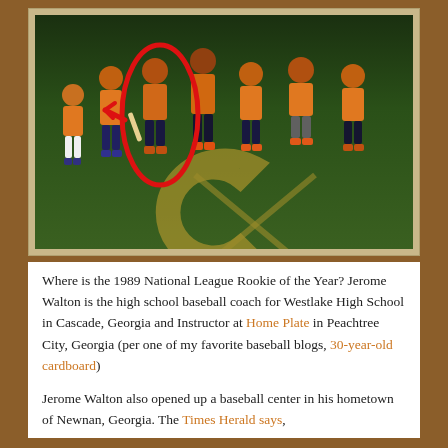[Figure (photo): Group photo of baseball players in orange shirts standing on a field with a large 'C' logo. A red oval/circle is drawn around one player in the center of the group.]
Where is the 1989 National League Rookie of the Year? Jerome Walton is the high school baseball coach for Westlake High School in Cascade, Georgia and Instructor at Home Plate in Peachtree City, Georgia (per one of my favorite baseball blogs, 30-year-old cardboard)
Jerome Walton also opened up a baseball center in his hometown of Newnan, Georgia. The Times Herald says,